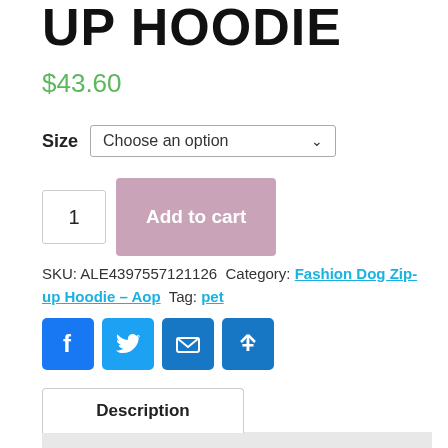UP HOODIE
$43.60
Size  Choose an option
1  Add to cart
SKU: ALE4397557121126  Category: Fashion Dog Zip-up Hoodie – Aop  Tag: pet
[Figure (infographic): Social sharing icons: Facebook, Twitter, Email, Share (plus sign)]
Description
Additional information